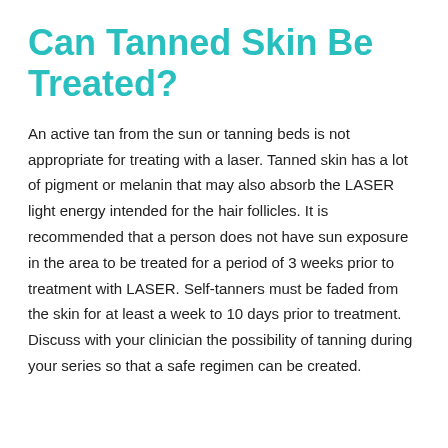Can Tanned Skin Be Treated?
An active tan from the sun or tanning beds is not appropriate for treating with a laser. Tanned skin has a lot of pigment or melanin that may also absorb the LASER light energy intended for the hair follicles. It is recommended that a person does not have sun exposure in the area to be treated for a period of 3 weeks prior to treatment with LASER. Self-tanners must be faded from the skin for at least a week to 10 days prior to treatment. Discuss with your clinician the possibility of tanning during your series so that a safe regimen can be created.